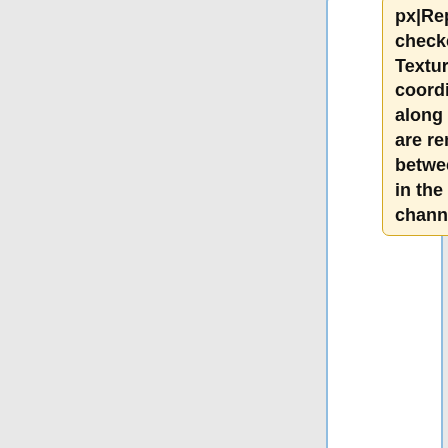px|Repeat checked. Texture coordinates along the Z axis are remapped between 0 and 1 in the Blue channel.]]
|-
| [[File:VisTexCoord_25_LuminousOn.jpg|none|200px|The Visualise tex coords node applied to ground and uv mapped cube object.  Repeat